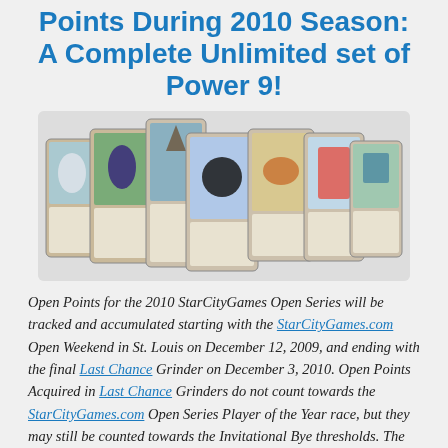Points During 2010 Season: A Complete Unlimited set of Power 9!
[Figure (photo): Nine Magic: The Gathering Power 9 cards fanned out, showing Unlimited edition cards including Black Lotus, Moxes, and other power cards against a light background.]
Open Points for the 2010 StarCityGames Open Series will be tracked and accumulated starting with the StarCityGames.com Open Weekend in St. Louis on December 12, 2009, and ending with the final Last Chance Grinder on December 3, 2010. Open Points Acquired in Last Chance Grinders do not count towards the StarCityGames.com Open Series Player of the Year race, but they may still be counted towards the Invitational Bye thresholds. The StarCityGames.com Open Series Player of the Year will be awarded at the